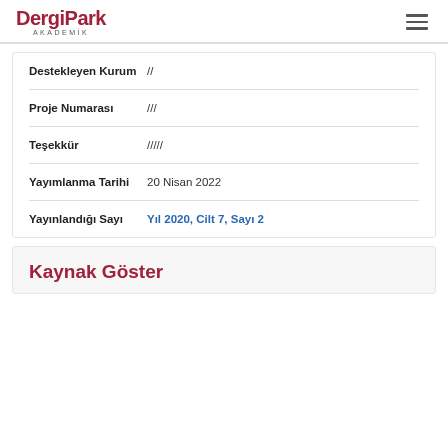DergiPark AKADEMİK
| Alan | Değer |
| --- | --- |
| Destekleyen Kurum | // |
| Proje Numarası | /// |
| Teşekkür | ///// |
| Yayımlanma Tarihi | 20 Nisan 2022 |
| Yayınlandığı Sayı | Yıl 2020, Cilt 7, Sayı 2 |
Kaynak Göster